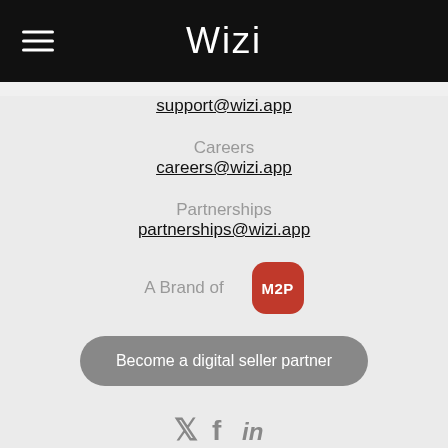Wizi
support@wizi.app
Careers
careers@wizi.app
Partnerships
partnerships@wizi.app
A Brand of M2P
Become a digital seller partner
[Figure (illustration): Social media icons: Twitter bird, Facebook F, LinkedIn in]